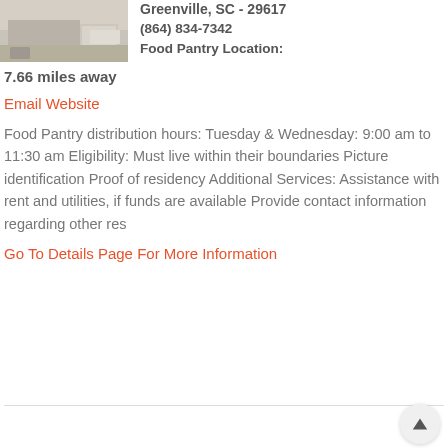[Figure (photo): Exterior photo of a building with a truck/warehouse visible, muted gray-beige tones]
Greenville, SC - 29617
(864) 834-7342
Food Pantry Location:
7.66 miles away
Email Website
Food Pantry distribution hours: Tuesday & Wednesday: 9:00 am to 11:30 am Eligibility: Must live within their boundaries Picture identification Proof of residency Additional Services: Assistance with rent and utilities, if funds are available Provide contact information regarding other res
Go To Details Page For More Information